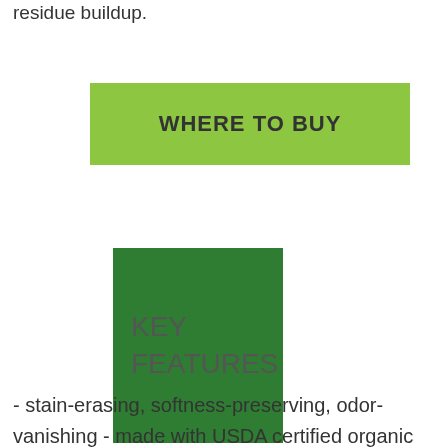residue buildup.
[Figure (other): Green 'WHERE TO BUY' button]
KEY FEATURES
- stain-erasing, softness-preserving, odor-vanishing - made with USDA certified organic and non-toxic ingredients - no harsh chemicals - dye free - fragrance free - no GMOs - no